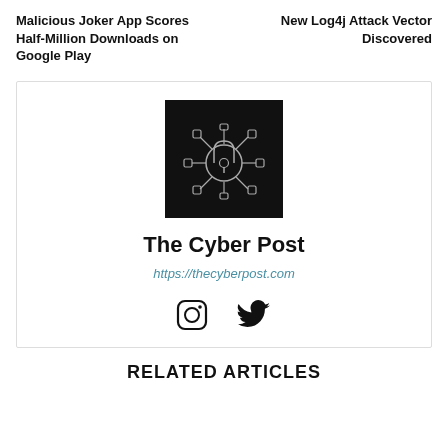Malicious Joker App Scores Half-Million Downloads on Google Play
New Log4j Attack Vector Discovered
[Figure (logo): The Cyber Post logo: black square with a padlock icon connected to circuit-like nodes in white outline]
The Cyber Post
https://thecyberpost.com
[Figure (illustration): Social media icons: Instagram and Twitter]
RELATED ARTICLES